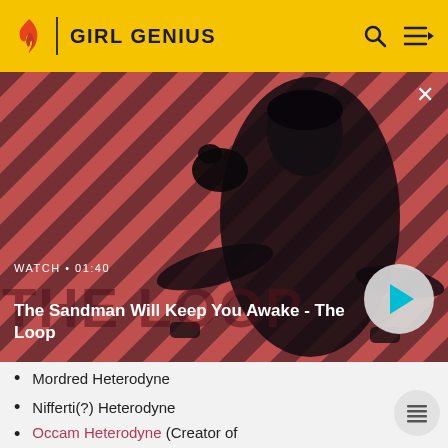GIRL GENIUS
[Figure (screenshot): Video thumbnail showing a dark-clad figure with a raven on their shoulder against red and black diagonal striped background. Title overlay: 'The Sandman Will Keep You Awake - The Loop'. Watch label: 'WATCH · 01:40'. Play button visible.]
The Sandman Will Keep You Awake - The Loop
Mordred Heterodyne
Nifferti(?) Heterodyne
Occam Heterodyne (Creator of Occam's Razor. ✤ )
Oxalof Heterodyne